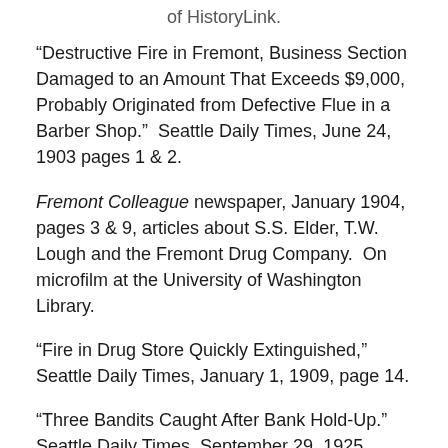of HistoryLink.
“Destructive Fire in Fremont, Business Section Damaged to an Amount That Exceeds $9,000, Probably Originated from Defective Flue in a Barber Shop.”  Seattle Daily Times, June 24, 1903 pages 1 & 2.
Fremont Colleague newspaper, January 1904, pages 3 & 9, articles about S.S. Elder, T.W. Lough and the Fremont Drug Company.  On microfilm at the University of Washington Library.
“Fire in Drug Store Quickly Extinguished,” Seattle Daily Times, January 1, 1909, page 14.
“Three Bandits Caught After Bank Hold-Up.”  Seattle Daily Times, September 29, 1925, pages 1 & 2.
“That’s Twice, and Every 50 Years They’ll Walk to Lake.”